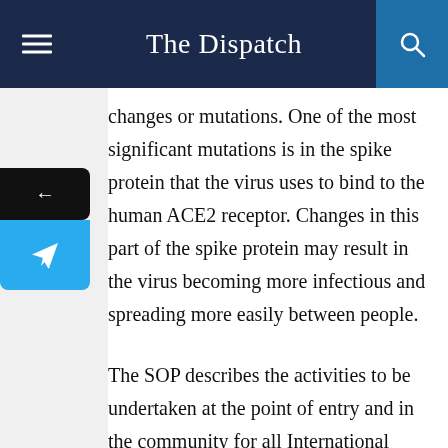The Dispatch
changes or mutations. One of the most significant mutations is in the spike protein that the virus uses to bind to the human ACE2 receptor. Changes in this part of the spike protein may result in the virus becoming more infectious and spreading more easily between people.
The SOP describes the activities to be undertaken at the point of entry and in the community for all International passengers who have travelled from or transited through the UK in the past few